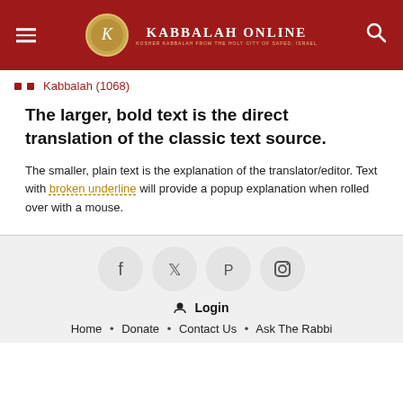Kabbalah Online — Kosher Kabbalah From the Holy City of Safed, Israel
Kabbalah (1068)
The larger, bold text is the direct translation of the classic text source.
The smaller, plain text is the explanation of the translator/editor. Text with broken underline will provide a popup explanation when rolled over with a mouse.
Home • Donate • Contact Us • Ask The Rabbi